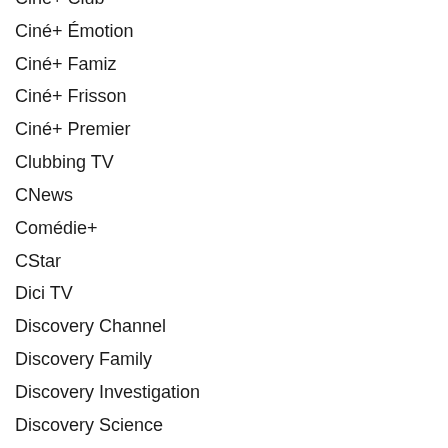Ciné+ Club
Ciné+ Émotion
Ciné+ Famiz
Ciné+ Frisson
Ciné+ Premier
Clubbing TV
CNews
Comédie+
CStar
Dici TV
Discovery Channel
Discovery Family
Discovery Investigation
Discovery Science
Disney Channel +1
Disney Cinéma
Disney Junior